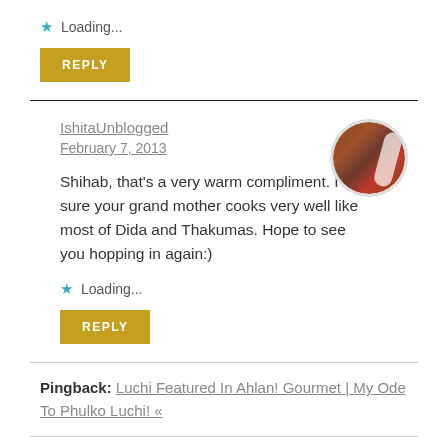★ Loading...
REPLY
IshitaUnblogged
February 7, 2013
[Figure (photo): Circular avatar photo of a person/scene with reddish-brown tones and a white curved stripe]
Shihab, that's a very warm compliment. I'm sure your grand mother cooks very well like most of Dida and Thakumas. Hope to see you hopping in again:)
★ Loading...
REPLY
Pingback: Luchi Featured In Ahlan! Gourmet | My Ode To Phulko Luchi! «